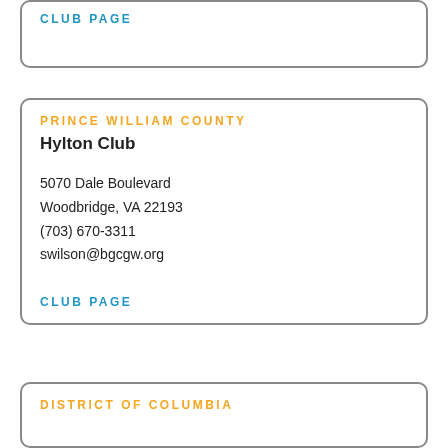CLUB PAGE
PRINCE WILLIAM COUNTY
Hylton Club
5070 Dale Boulevard
Woodbridge, VA 22193
(703) 670-3311
swilson@bgcgw.org
CLUB PAGE
DISTRICT OF COLUMBIA